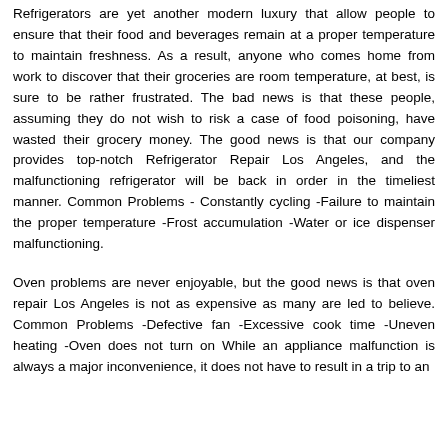Refrigerators are yet another modern luxury that allow people to ensure that their food and beverages remain at a proper temperature to maintain freshness. As a result, anyone who comes home from work to discover that their groceries are room temperature, at best, is sure to be rather frustrated. The bad news is that these people, assuming they do not wish to risk a case of food poisoning, have wasted their grocery money. The good news is that our company provides top-notch Refrigerator Repair Los Angeles, and the malfunctioning refrigerator will be back in order in the timeliest manner. Common Problems - Constantly cycling -Failure to maintain the proper temperature -Frost accumulation -Water or ice dispenser malfunctioning.
Oven problems are never enjoyable, but the good news is that oven repair Los Angeles is not as expensive as many are led to believe. Common Problems -Defective fan -Excessive cook time -Uneven heating -Oven does not turn on While an appliance malfunction is always a major inconvenience, it does not have to result in a trip to an